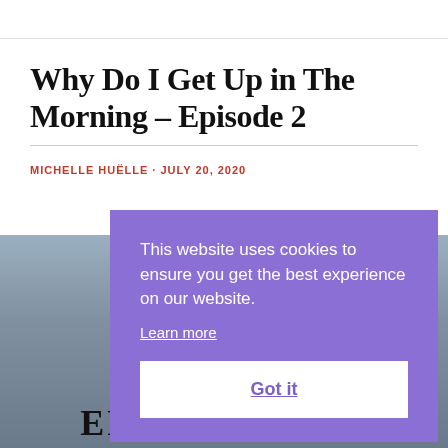Why Do I Get Up in The Morning – Episode 2
MICHELLEUELLE · JULY 20, 2020
[Figure (photo): Book cover image with text EPISODE TWO at the bottom, mountain landscape background]
This website uses cookies to ensure you get the best experience on our website. Learn more
Got it